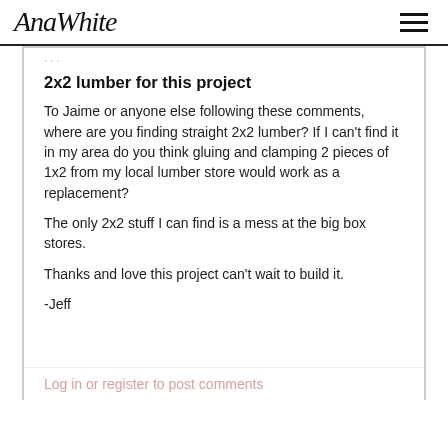AnaWhite
2x2 lumber for this project
To Jaime or anyone else following these comments, where are you finding straight 2x2 lumber? If I can't find it in my area do you think gluing and clamping 2 pieces of 1x2 from my local lumber store would work as a replacement?
The only 2x2 stuff I can find is a mess at the big box stores.
Thanks and love this project can't wait to build it.
-Jeff
Log in or register to post comments